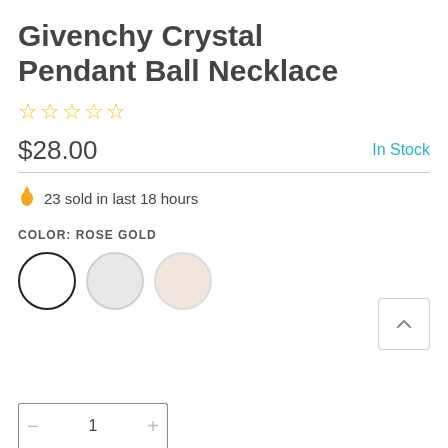Givenchy Crystal Pendant Ball Necklace
[Figure (other): 5 empty/outline star rating icons in gold/yellow]
$28.00
In Stock
23 sold in last 18 hours
COLOR: ROSE GOLD
[Figure (other): Three color swatch circles: black outline (selected), silver/grey, rose gold/cream]
[Figure (other): Scroll-up arrow button]
[Figure (other): Quantity selector box showing 1 with plus and minus buttons]